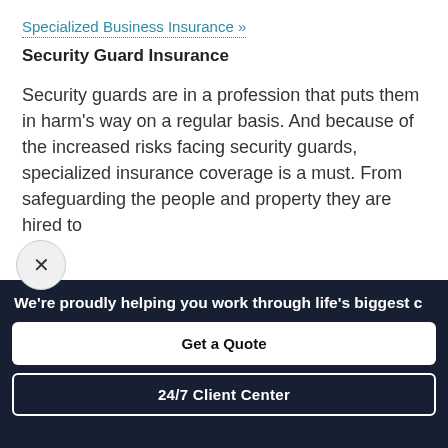Specialized Business Insurance »
Security Guard Insurance
Security guards are in a profession that puts them in harm's way on a regular basis. And because of the increased risks facing security guards, specialized insurance coverage is a must. From safeguarding the people and property they are hired to
We're proudly helping you work through life's biggest c
Get a Quote
24/7 Client Center